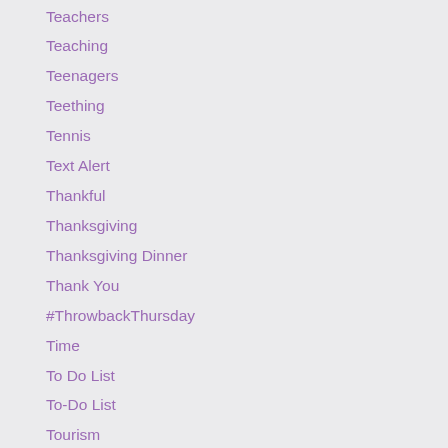Teachers
Teaching
Teenagers
Teething
Tennis
Text Alert
Thankful
Thanksgiving
Thanksgiving Dinner
Thank You
#ThrowbackThursday
Time
To Do List
To-Do List
Tourism
Toy Story
Trainer
Trick Or Treat
Trivia